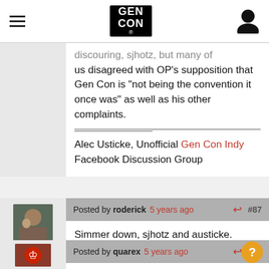GEN CON
discouring, sjhotz, but many of us disagreed with OP's supposition that Gen Con is "not being the convention it once was" as well as his other complaints.

Alec Usticke, Unofficial Gen Con Indy Facebook Discussion Group
Posted by roderick 5 years ago #87
Simmer down, sjhotz and austicke.

Roderick Robertson
Forum Coordinator; Gen Con, LLC.
Posted by quarex 5 years ago #88